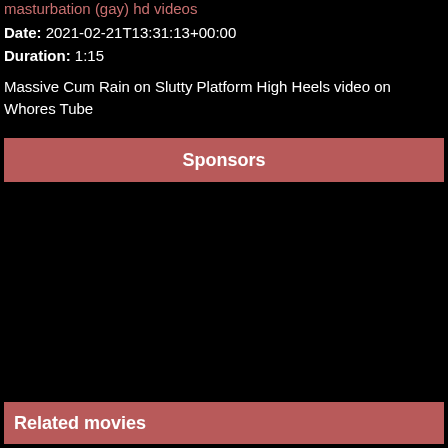masturbation (gay) hd videos
Date: 2021-02-21T13:31:13+00:00
Duration: 1:15
Massive Cum Rain on Slutty Platform High Heels video on Whores Tube
Sponsors
Related movies